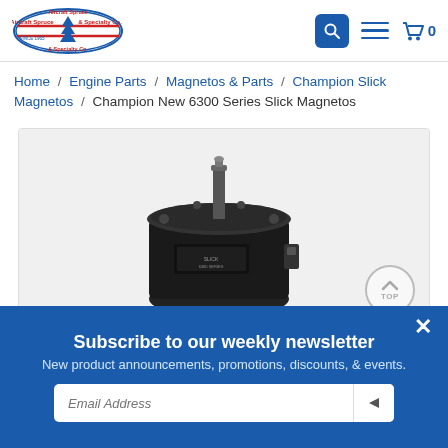[Figure (logo): Aircraft Spruce & Specialty Co. logo with a tree in the center and 'Since 1965' text, red and blue oval design]
Home / Engine Parts / Magnetos & Parts / Champion Slick Magnetos / Champion New 6300 Series Slick Magnetos
[Figure (photo): Black and white photo of a Champion New 6300 Series Slick Magneto, showing a black cylindrical magneto unit with mounting flange and a small post on top]
Subscribe to our weekly newsletter
New product announcements, promotions, discounts, & events.
Email Address